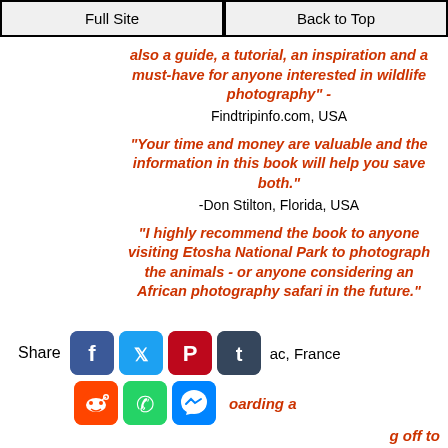Full Site | Back to Top
also a guide, a tutorial, an inspiration and a must-have for anyone interested in wildlife photography" - Findtripinfo.com, USA
"Your time and money are valuable and the information in this book will help you save both." -Don Stilton, Florida, USA
"I highly recommend the book to anyone visiting Etosha National Park to photograph the animals - or anyone considering an African photography safari in the future."
Share
ac, France
oarding a
g off to